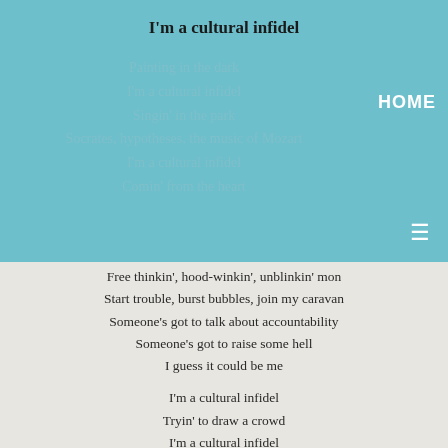I'm a cultural infidel
Painting in the dark
I'm a cultural infidel
Singin' in the park
Socrates, hypotheses, the music of Mozart
I'm a cultural infidel
Comin' from the heart
Free thinkin', hood-winkin', unblinkin' mon
Start trouble, burst bubbles, join my caravan
Someone's got to talk about accountability
Someone's got to raise some hell
I guess it could be me
I'm a cultural infidel
Tryin' to draw a crowd
I'm a cultural infidel
Singin' right out loud
Philosophy is not for me, laughin' is my game
I'm a cultural infidel
Slap me with the blame
Loose cannon, Armageddon, preacher's at the door
Spittin' poison at the boys'n' girls on the dance floor
I hear them in the Congress
I see them on TV
I hope the Inquisition remains a memory
Al diablo Picasso, Al diablo Manet